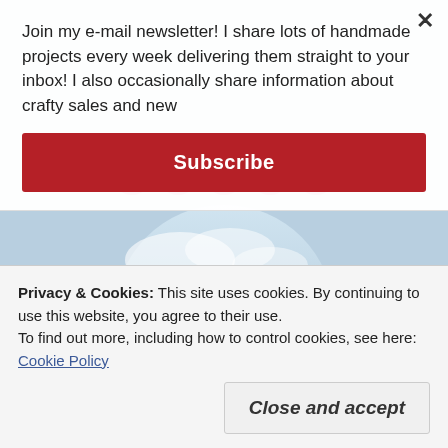[Figure (illustration): Social media icons (YouTube, Facebook, email, Pinterest, and one more) as pink circular buttons in a row]
[Figure (photo): Circular cropped photo showing a person in a sunflower field with blue sky background]
Join my e-mail newsletter! I share lots of handmade projects every week delivering them straight to your inbox! I also occasionally share information about crafty sales and new
Subscribe
×
Privacy & Cookies: This site uses cookies. By continuing to use this website, you agree to their use.
To find out more, including how to control cookies, see here: Cookie Policy
Close and accept